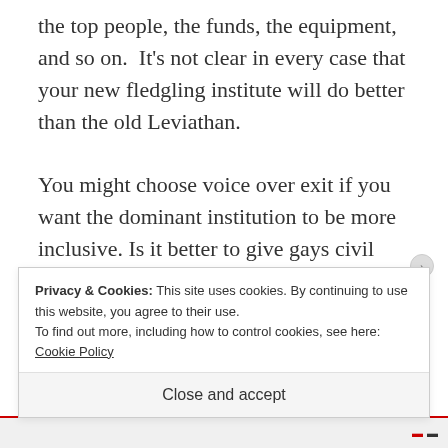the top people, the funds, the equipment, and so on.  It's not clear in every case that your new fledgling institute will do better than the old Leviathan.

You might choose voice over exit if you want the dominant institution to be more inclusive. Is it better to give gays civil marriage, or for gays to champion
Privacy & Cookies: This site uses cookies. By continuing to use this website, you agree to their use.
To find out more, including how to control cookies, see here: Cookie Policy
Close and accept